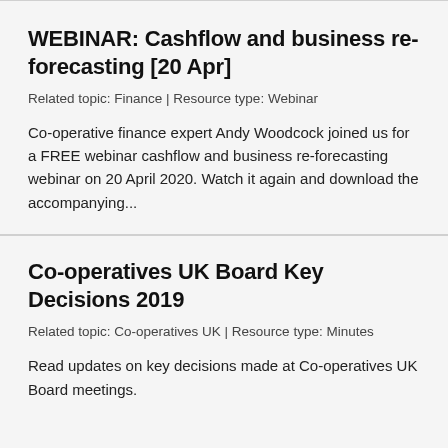WEBINAR: Cashflow and business re-forecasting [20 Apr]
Related topic: Finance | Resource type: Webinar
Co-operative finance expert Andy Woodcock joined us for a FREE webinar cashflow and business re-forecasting webinar on 20 April 2020. Watch it again and download the accompanying...
Co-operatives UK Board Key Decisions 2019
Related topic: Co-operatives UK | Resource type: Minutes
Read updates on key decisions made at Co-operatives UK Board meetings.